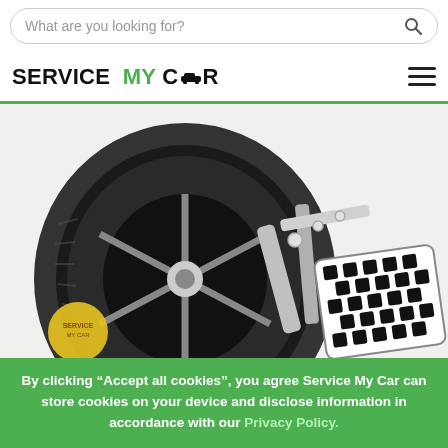What are you looking for? [search bar]
SERVICE MY CAR
[Figure (photo): A car tire and wheel alignment equipment including a checkered alignment target panel, against a white background. A small yellow circular watermark/logo is visible in the lower left of the image.]
By clicking “Accept all cookies”, you agree Service My Car can store cookies on your device and disclose information in accordance with our Privacy Policy.